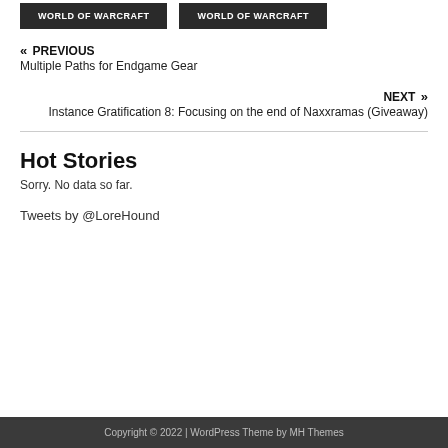WORLD OF WARCRAFT  WORLD OF WARCRAFT
« PREVIOUS
Multiple Paths for Endgame Gear
NEXT »
Instance Gratification 8: Focusing on the end of Naxxramas (Giveaway)
Hot Stories
Sorry. No data so far.
Tweets by @LoreHound
Copyright © 2022 | WordPress Theme by MH Themes